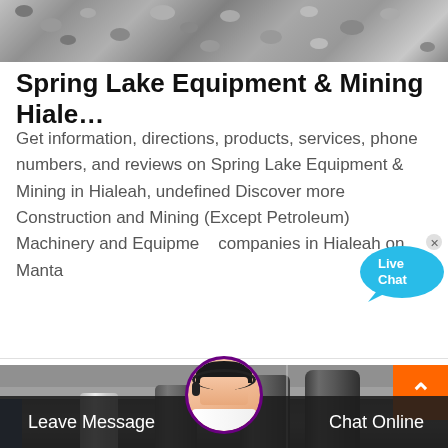[Figure (photo): Gravel/rocks pile — mining related image at top]
Spring Lake Equipment & Mining Hiale…
Get information, directions, products, services, phone numbers, and reviews on Spring Lake Equipment & Mining in Hialeah, undefined Discover more Construction and Mining (Except Petroleum) Machinery and Equipment companies in Hialeah on Manta
[Figure (photo): Industrial facility interior with large ventilation pipes/ducts and ceiling structure]
Leave Message
Chat Online